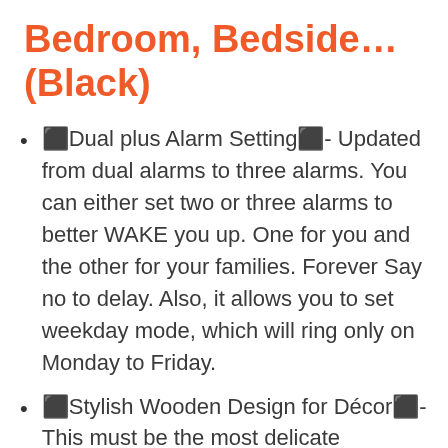Bedroom, Bedside… (Black)
⬛Dual plus Alarm Setting⬛- Updated from dual alarms to three alarms. You can either set two or three alarms to better WAKE you up. One for you and the other for your families. Forever Say no to delay. Also, it allows you to set weekday mode, which will ring only on Monday to Friday.
⬛Stylish Wooden Design for Décor⬛- This must be the most delicate alarm clock on your room with...